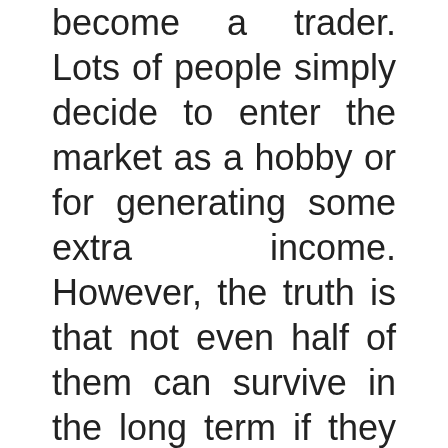become a trader. Lots of people simply decide to enter the market as a hobby or for generating some extra income. However, the truth is that not even half of them can survive in the long term if they don't possess any knowledge. Duxa Capital is aware of this reality and has established a complete education center on its platform. Here, new and existing traders can get access to informative and in-depth resources